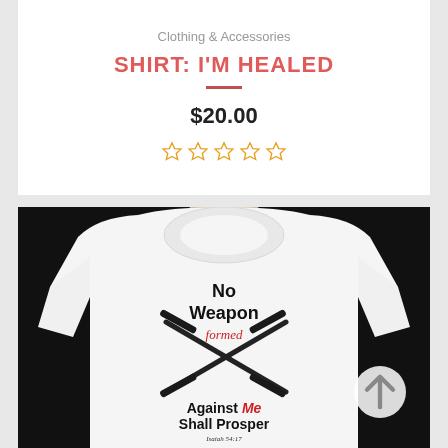Clothing & Accessories
SHIRT: I'M HEALED
$20.00
[Figure (other): Five empty star rating icons in orange/gold color indicating no reviews yet]
[Figure (photo): White t-shirt on a mannequin with text 'No Weapon formed Against Me Shall Prosper Isaiah 54:17' and crossed rifles graphic on a dark background]